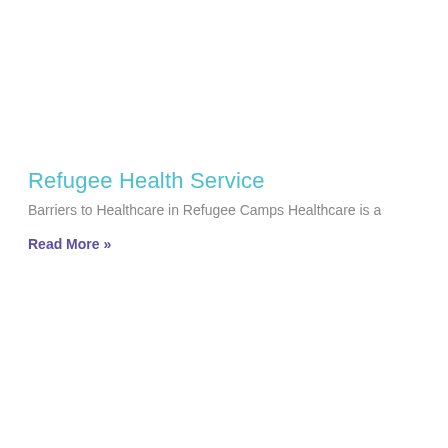Refugee Health Service
Barriers to Healthcare in Refugee Camps Healthcare is a
Read More »